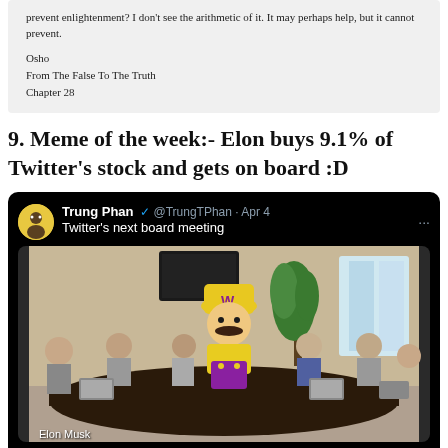prevent enlightenment? I don't see the arithmetic of it. It may perhaps help, but it cannot prevent.

Osho
From The False To The Truth
Chapter 28
9. Meme of the week:- Elon buys 9.1% of Twitter's stock and gets on board :D
[Figure (screenshot): Tweet screenshot from @TrungTPhan on Apr 4 saying 'Twitter's next board meeting' with a meme image of someone dressed as Wario (yellow hat with W, yellow shirt, purple overalls) sitting at a conference room table surrounded by other people with laptops. Caption shows 'Elon Musk'. Tweet stats show 127 replies, 1,756 retweets, 19.3K likes.]